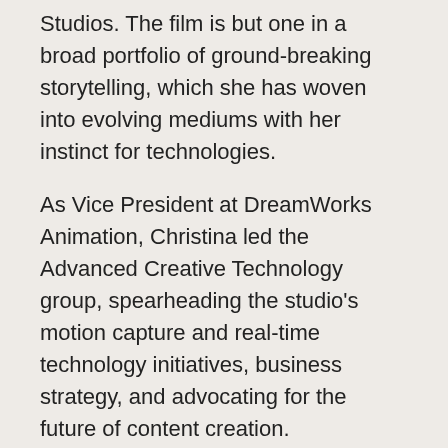Studios. The film is but one in a broad portfolio of ground-breaking storytelling, which she has woven into evolving mediums with her instinct for technologies.
As Vice President at DreamWorks Animation, Christina led the Advanced Creative Technology group, spearheading the studio's motion capture and real-time technology initiatives, business strategy, and advocating for the future of content creation.
She produced three award-winning location-based VR experiences for the How to Train Your Dragon franchise, AR projects for Trolls World Tour, and Abominable, and produced the real-time